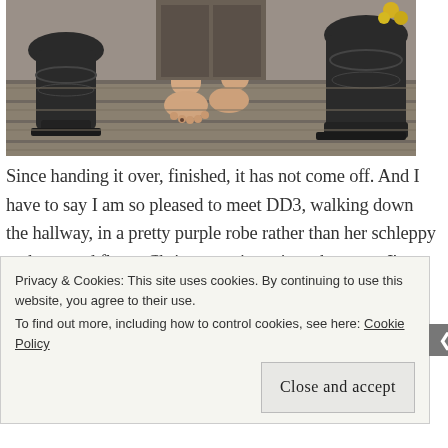[Figure (photo): Photo of bare legs and feet sitting on wooden porch steps, flanked by two large dark decorative urns]
Since handing it over, finished, it has not come off. And I have to say I am so pleased to meet DD3, walking down the hallway, in a pretty purple robe rather than her schleppy tank top and fleece Christmas print pajama bottoms. I've got two more of this pattern in the hopper and they should be finished…
Privacy & Cookies: This site uses cookies. By continuing to use this website, you agree to their use.
To find out more, including how to control cookies, see here: Cookie Policy
Close and accept